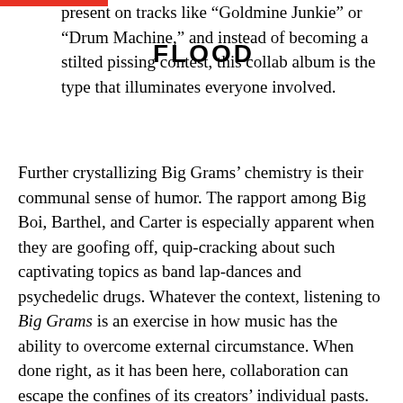present on tracks like “Goldmine Junkie” or “Drum Machine,” and instead of becoming a stilted pissing contest, this collab album is the type that illuminates everyone involved.
Further crystallizing Big Grams’ chemistry is their communal sense of humor. The rapport among Big Boi, Barthel, and Carter is especially apparent when they are goofing off, quip-cracking about such captivating topics as band lap-dances and psychedelic drugs. Whatever the context, listening to Big Grams is an exercise in how music has the ability to overcome external circumstance. When done right, as it has been here, collaboration can escape the confines of its creators’ individual pasts. There is a dialogue of musical substance present on tracks like “Goldmine Junkie” or “Drum Machine,” and instead of becoming a stilted pissing contest, this collab album is the type that illuminates everyone involved. Speaking of